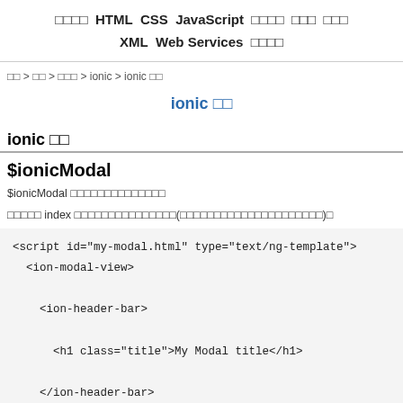□□□□ HTML CSS JavaScript □□□□ □□□ □□□ XML Web Services □□□□
□□ > □□ > □□□ > ionic > ionic □□
ionic □□
ionic □□
$ionicModal
$ionicModal □□□□□□□□□□□□□□
□□□□□ index □□□□□□□□□□□□□□□(□□□□□□□□□□□□□□□□□□□□□)□
<script id="my-modal.html" type="text/ng-template">
  <ion-modal-view>

    <ion-header-bar>

      <h1 class="title">My Modal title</h1>

    </ion-header-bar>